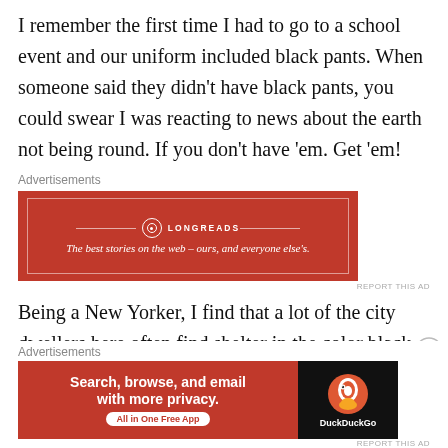I remember the first time I had to go to a school event and our uniform included black pants. When someone said they didn't have black pants, you could swear I was reacting to news about the earth not being round. If you don't have 'em. Get 'em!
[Figure (other): Longreads advertisement banner: red background with white border, Longreads logo and tagline 'The best stories on the web – ours, and everyone else's.']
Being a New Yorker, I find that a lot of the city dwellers here often find shelter in the color black and sometimes dedicate their whole wardrobe to the color. If you've had a chance to make it to NYFW
[Figure (other): DuckDuckGo advertisement banner: 'Search, browse, and email with more privacy. All in One Free App' with DuckDuckGo logo on dark right panel.]